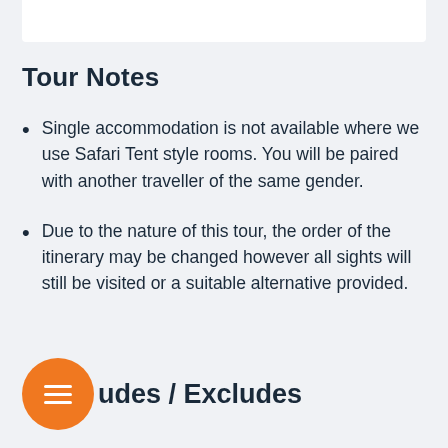Tour Notes
Single accommodation is not available where we use Safari Tent style rooms. You will be paired with another traveller of the same gender.
Due to the nature of this tour, the order of the itinerary may be changed however all sights will still be visited or a suitable alternative provided.
udes / Excludes